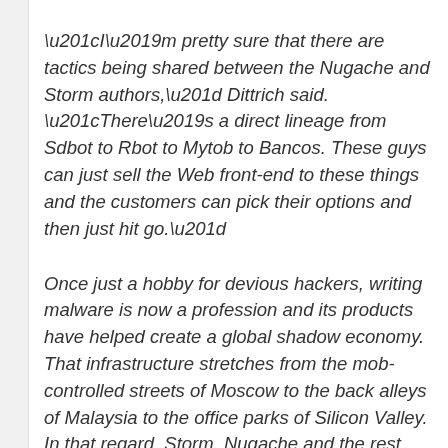“I’m pretty sure that there are tactics being shared between the Nugache and Storm authors,” Dittrich said. “There’s a direct lineage from Sdbot to Rbot to Mytob to Bancos. These guys can just sell the Web front-end to these things and the customers can pick their options and then just hit go.”
Once just a hobby for devious hackers, writing malware is now a profession and its products have helped create a global shadow economy. That infrastructure stretches from the mob-controlled streets of Moscow to the back alleys of Malaysia to the office parks of Silicon Valley. In that regard, Storm, Nugache and the rest are really just the first products off the